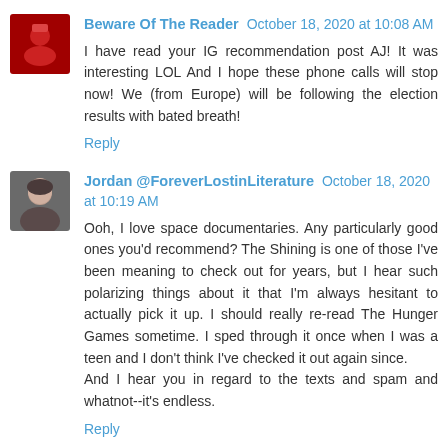Beware Of The Reader October 18, 2020 at 10:08 AM
I have read your IG recommendation post AJ! It was interesting LOL And I hope these phone calls will stop now! We (from Europe) will be following the election results with bated breath!
Reply
Jordan @ForeverLostinLiterature October 18, 2020 at 10:19 AM
Ooh, I love space documentaries. Any particularly good ones you'd recommend? The Shining is one of those I've been meaning to check out for years, but I hear such polarizing things about it that I'm always hesitant to actually pick it up. I should really re-read The Hunger Games sometime. I sped through it once when I was a teen and I don't think I've checked it out again since.
And I hear you in regard to the texts and spam and whatnot--it's endless.
Reply